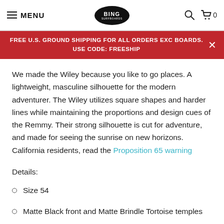MENU | BING SURFBOARDS | (search) (cart 0)
FREE U.S. GROUND SHIPPING FOR ALL ORDERS EXC BOARDS. USE CODE: FREESHIP
We made the Wiley because you like to go places. A lightweight, masculine silhouette for the modern adventurer. The Wiley utilizes square shapes and harder lines while maintaining the proportions and design cues of the Remmy. Their strong silhouette is cut for adventure, and made for seeing the sunrise on new horizons. California residents, read the Proposition 65 warning
Details:
Size 54
Matte Black front and Matte Brindle Tortoise temples